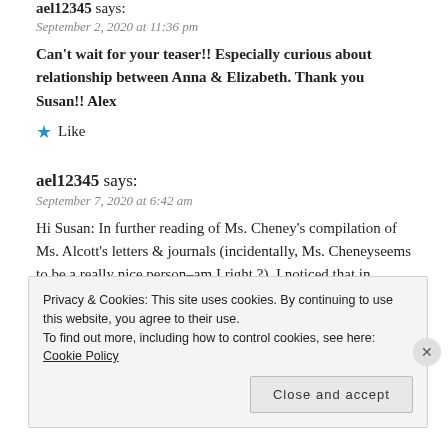ael12345 says:
September 2, 2020 at 11:36 pm
Can't wait for your teaser!! Especially curious about relationship between Anna & Elizabeth. Thank you Susan!! Alex
Like
ael12345 says:
September 7, 2020 at 6:42 am
Hi Susan: In further reading of Ms. Cheney's compilation of Ms. Alcott's letters & journals (incidentally, Ms. Cheneyseems to be a really nice person–am I right ?), I noticed that in addition to Louisa's connection to Anna, she seems to have been really fond of little Abba May, & wanted to buy her lots of nice things & really make her life as happy
Privacy & Cookies: This site uses cookies. By continuing to use this website, you agree to their use.
To find out more, including how to control cookies, see here: Cookie Policy
Close and accept